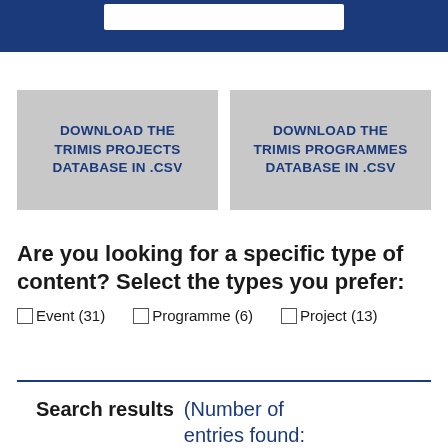DOWNLOAD THE TRIMIS PROJECTS DATABASE IN .CSV
DOWNLOAD THE TRIMIS PROGRAMMES DATABASE IN .CSV
Are you looking for a specific type of content? Select the types you prefer:
Event (31)
Programme (6)
Project (13)
Search results (Number of entries found: